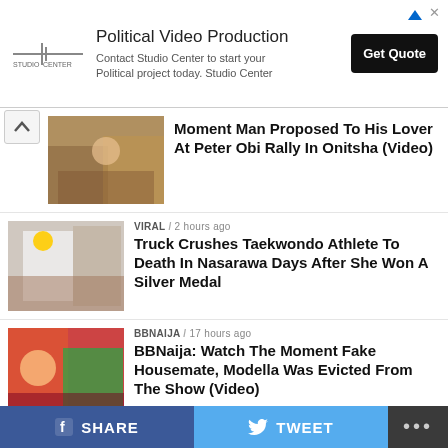[Figure (screenshot): Advertisement banner: Studio Center - Political Video Production. Get Quote button.]
[Figure (photo): Thumbnail image for news article about proposal at Peter Obi Rally in Onitsha]
Moment Man Proposed To His Lover At Peter Obi Rally In Onitsha (Video)
[Figure (photo): Thumbnail image for Taekwondo athlete news]
VIRAL / 2 hours ago
Truck Crushes Taekwondo Athlete To Death In Nasarawa Days After She Won A Silver Medal
[Figure (photo): Thumbnail image for BBNaija news]
BBNAIJA / 17 hours ago
BBNaija: Watch The Moment Fake Housemate, Modella Was Evicted From The Show (Video)
[Figure (photo): Thumbnail image for Bride story]
RELATIONSHIP & LIFESTYLES / 18 hours ago
Beautiful Bride Celebrated Online After She
SHARE
TWEET